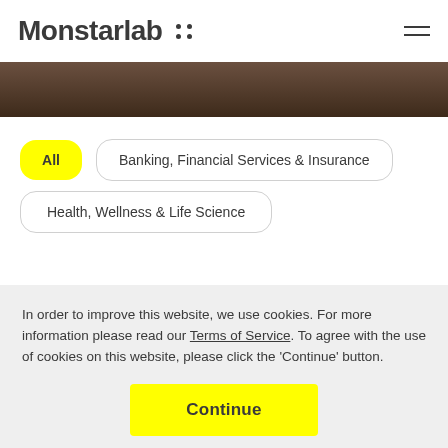Monstarlab
[Figure (screenshot): Dark brownish image strip below the header navigation]
All
Banking, Financial Services & Insurance
Health, Wellness & Life Science
In order to improve this website, we use cookies. For more information please read our Terms of Service. To agree with the use of cookies on this website, please click the 'Continue' button.
Continue